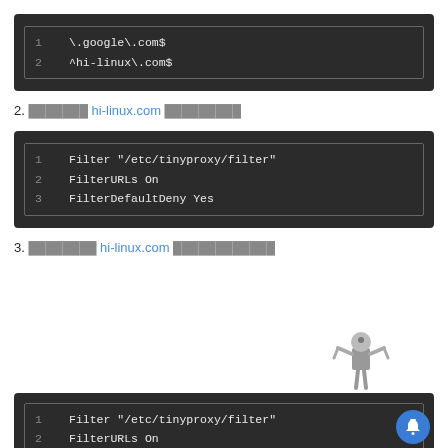[Figure (screenshot): Code block showing lines: 1  \.google\.com$  2  ^hi-linux\.com$]
2. xxxxxxx hi-linux.com xxxxxxxxx
[Figure (screenshot): Code block showing lines: 1  Filter "/etc/tinyproxy/filter"  2  FilterURLs On  3  FilterDefaultDeny Yes]
3. xxxxxxxx hi-linux.com xxxxxxxxxxxx
[Figure (screenshot): Robot/person figure illustration]
[Figure (screenshot): Code block (partial) showing lines: 1  Filter "/etc/tinyproxy/filter"  2  FilterURLs On]